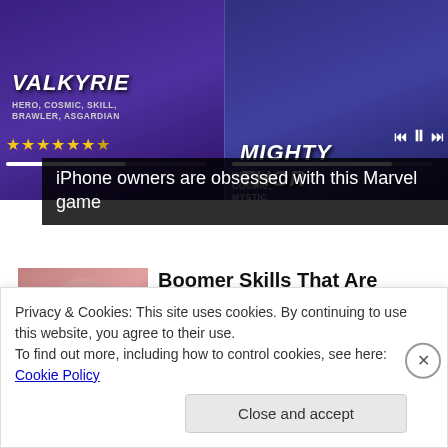[Figure (screenshot): Mobile game advertisement showing two Marvel characters: Valkyrie (left, HERO, COSMIC, SKILL, BRAWLER, ASGARDIAN) and Mighty Thor (right, HERO, COSMIC, MYSTIC, CONTROLLER, ASGARDIAN), each with star ratings and progress bars. Media controls visible on right side.]
iPhone owners are obsessed with this Marvel game
[Figure (photo): Thumbnail image of a person lying down, used as article illustration]
Boomer Skills That Are Completely Useless Today
Ron Voyaged
Privacy & Cookies: This site uses cookies. By continuing to use this website, you agree to their use.
To find out more, including how to control cookies, see here: Cookie Policy
Close and accept